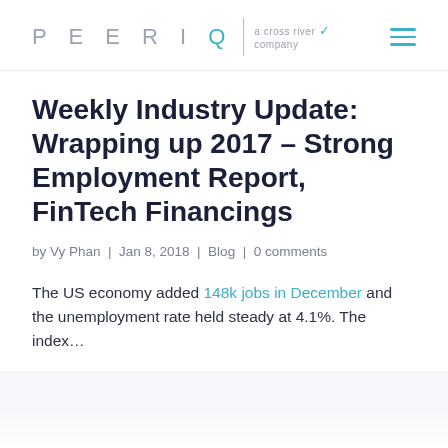PEERIQ a cross river company
Weekly Industry Update: Wrapping up 2017 – Strong Employment Report, FinTech Financings
by Vy Phan | Jan 8, 2018 | Blog | 0 comments
The US economy added 148k jobs in December and the unemployment rate held steady at 4.1%. The index…